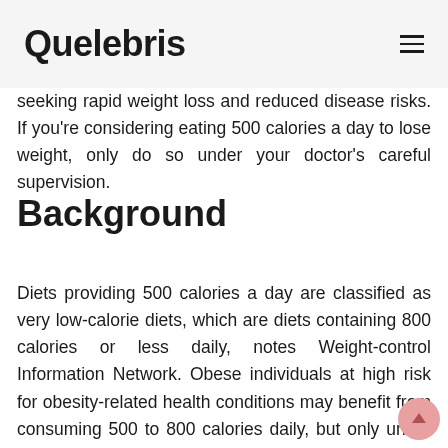Quelebris
seeking rapid weight loss and reduced disease risks. If you're considering eating 500 calories a day to lose weight, only do so under your doctor's careful supervision.
Background
Diets providing 500 calories a day are classified as very low-calorie diets, which are diets containing 800 calories or less daily, notes Weight-control Information Network. Obese individuals at high risk for obesity-related health conditions may benefit from consuming 500 to 800 calories daily, but only under medical